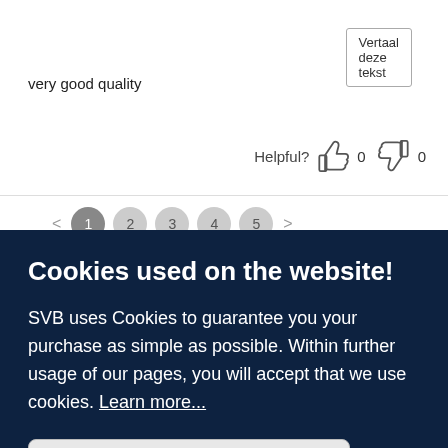Vertaal deze tekst
very good quality
Helpful? 0  0
< 1 2 3 4 5 >
Cookies used on the website!
SVB uses Cookies to guarantee you your purchase as simple as possible. Within further usage of our pages, you will accept that we use cookies. Learn more...
Accept only necessary
Accept